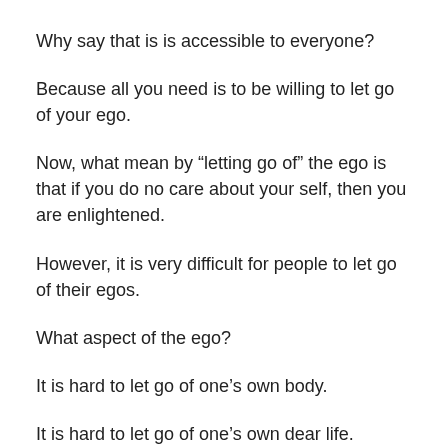Why say that is is accessible to everyone?
Because all you need is to be willing to let go of your ego.
Now, what mean by “letting go of” the ego is that if you do no care about your self, then you are enlightened.
However, it is very difficult for people to let go of their egos.
What aspect of the ego?
It is hard to let go of one’s own body.
It is hard to let go of one’s own dear life.